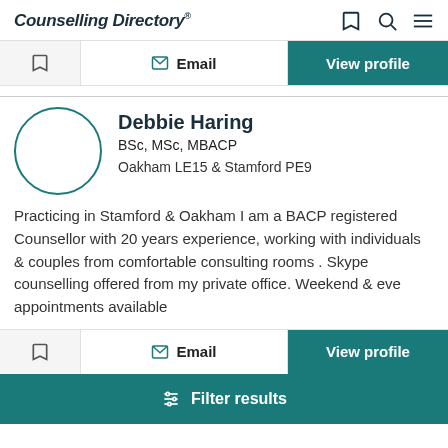Counselling Directory
[Figure (screenshot): Action bar with bookmark icon, Email button, and View profile teal button (top)]
Debbie Haring BSc, MSc, MBACP Oakham LE15 & Stamford PE9
Practicing in Stamford & Oakham I am a BACP registered Counsellor with 20 years experience, working with individuals & couples from comfortable consulting rooms . Skype counselling offered from my private office. Weekend & eve appointments available
[Figure (screenshot): Action bar with bookmark icon, Email button, and View profile teal button (bottom)]
[Figure (screenshot): Filter results teal bar at bottom]